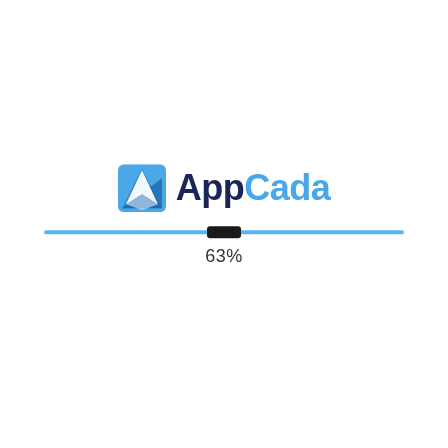[Figure (logo): AppCada logo with blue square icon containing a white arrow/kite shape, followed by 'App' in dark navy and 'Cada' in sky blue text]
[Figure (infographic): A horizontal progress bar in light blue with a dark thumb/handle indicator near the center, showing 63% progress]
63%